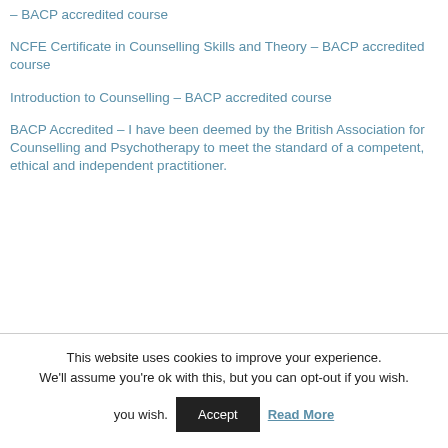– BACP accredited course
NCFE Certificate in Counselling Skills and Theory – BACP accredited course
Introduction to Counselling – BACP accredited course
BACP Accredited – I have been deemed by the British Association for Counselling and Psychotherapy to meet the standard of a competent, ethical and independent practitioner.
This website uses cookies to improve your experience. We'll assume you're ok with this, but you can opt-out if you wish. Accept Read More